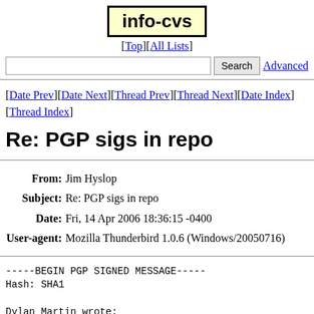info-cvs
[Top][All Lists]
Search  Advanced
[Date Prev][Date Next][Thread Prev][Thread Next][Date Index][Thread Index]
Re: PGP sigs in repo
| Field | Value |
| --- | --- |
| From | Jim Hyslop |
| Subject | Re: PGP sigs in repo |
| Date | Fri, 14 Apr 2006 18:36:15 -0400 |
| User-agent | Mozilla Thunderbird 1.0.6 (Windows/20050716) |
-----BEGIN PGP SIGNED MESSAGE-----
Hash: SHA1

Dylan Martin wrote:
> I'm thinking of including pgp/gpg signing in my reposito
> I make a change, I sign the changed file and check in
> well.  Then other people and automated systems are guar
> made the changes.
>